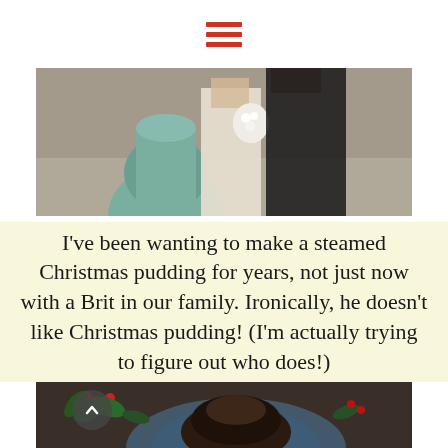☰ (hamburger menu icon)
[Figure (photo): Wedding couple photo: woman in white dress holding a bouquet of white flowers, man in black suit, standing near a decorative stone pillar or wheel, outdoor setting with blurred background]
I've been wanting to make a steamed Christmas pudding for years, not just now with a Brit in our family. Ironically, he doesn't like Christmas pudding! (I'm actually trying to figure out who does!)
[Figure (photo): Christmas pudding on a decorative plate garnished with holly berries and green leaves, photographed from above on a wooden table with candles in background]